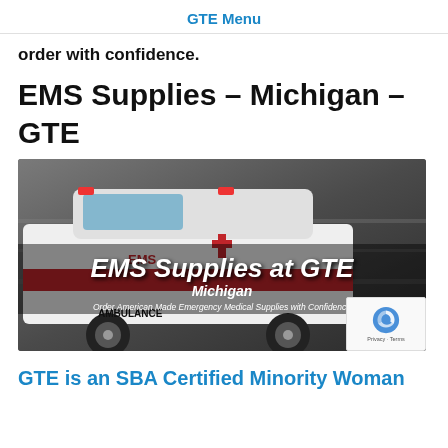GTE Menu
order with confidence.
EMS Supplies – Michigan – GTE
[Figure (photo): Ambulance in motion with overlay text reading 'EMS Supplies at GTE Michigan — Order American Made Emergency Medical Supplies with Confidence' and a GTE globe logo in the bottom right corner.]
GTE is an SBA Certified Minority Woman